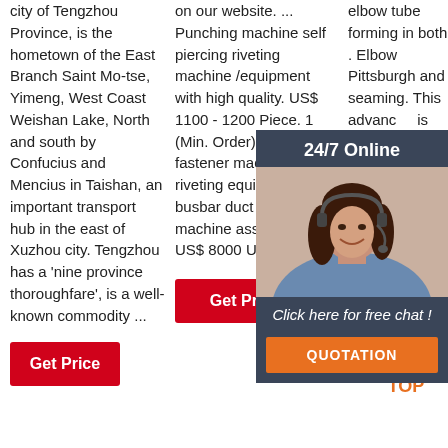city of Tengzhou Province, is the hometown of the East Branch Saint Mo-tse, Yimeng, West Coast Weishan Lake, North and south by Confucius and Mencius in Taishan, an important transport hub in the east of Xuzhou city. Tengzhou has a 'nine province thoroughfare', is a well-known commodity ...
Get Price
on our website. ... Punching machine self piercing riveting machine /equipment with high quality. US$ 1100 - 1200 Piece. 1 (Min. Order) ... Hydraulic fastener machine riveting equipment busbar duct riveting machine assembly line. US$ 8000 Unit. 1 ...
Get Price
[Figure (infographic): 24/7 Online chat widget with photo of customer service representative, 'Click here for free chat!' text, and QUOTATION button]
elbow tube forming in both . Elbow Pittsburgh and seaming. This advanced is 100% without ensure and more durability this has advanced elbow version . in the world already.
Get Price
[Figure (logo): TOP badge/logo with orange dots and text]